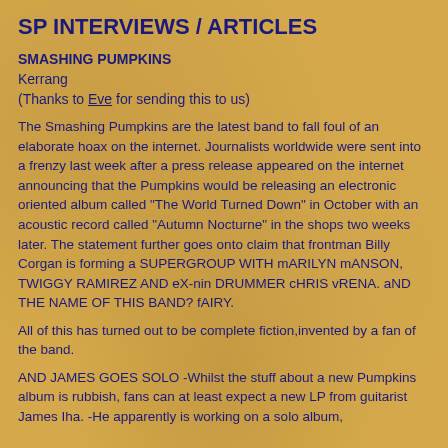SP INTERVIEWS / ARTICLES
SMASHING PUMPKINS
Kerrang
(Thanks to Eve for sending this to us)
The Smashing Pumpkins are the latest band to fall foul of an elaborate hoax on the internet. Journalists worldwide were sent into a frenzy last week after a press release appeared on the internet announcing that the Pumpkins would be releasing an electronic oriented album called "The World Turned Down" in October with an acoustic record called "Autumn Nocturne" in the shops two weeks later. The statement further goes onto claim that frontman Billy Corgan is forming a SUPERGROUP WITH mARILYN mANSON, TWIGGY RAMIREZ AND eX-nin DRUMMER cHRIS vRENA. aND THE NAME OF THIS BAND? fAIRY.
All of this has turned out to be complete fiction,invented by a fan of the band.
AND JAMES GOES SOLO -Whilst the stuff about a new Pumpkins album is rubbish, fans can at least expect a new LP from guitarist James Iha. -He apparently is working on a solo album,